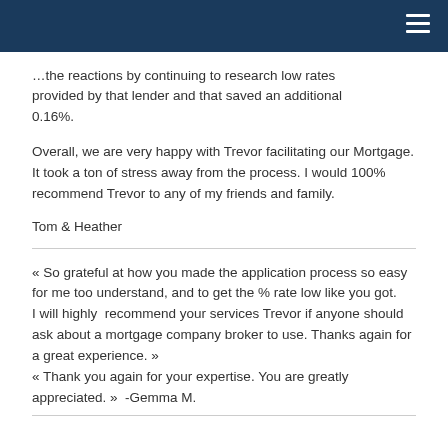… the reactions by continuing to research low rates provided by that lender and that saved an additional 0.16%.
Overall, we are very happy with Trevor facilitating our Mortgage. It took a ton of stress away from the process. I would 100% recommend Trevor to any of my friends and family.
Tom & Heather
« So grateful at how you made the application process so easy for me too understand, and to get the % rate low like you got.
I will highly  recommend your services Trevor if anyone should ask about a mortgage company broker to use. Thanks again for a great experience. »
« Thank you again for your expertise. You are greatly appreciated. »  -Gemma M.